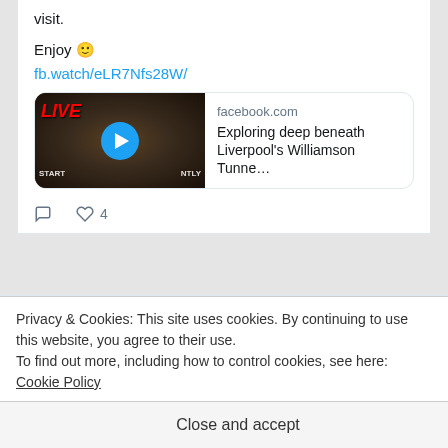visit.
Enjoy 😊
fb.watch/eLR7Nfs28W/
[Figure (screenshot): Facebook video preview card showing a tunnel image with play button. Domain: facebook.com. Title: Exploring deep beneath Liverpool's Williamson Tunne...]
4 likes
Williamson's Tunnels Retweeted
Bluenose @MarkFeenanEFC · Jul 28
Privacy & Cookies: This site uses cookies. By continuing to use this website, you agree to their use.
To find out more, including how to control cookies, see here: Cookie Policy
Close and accept